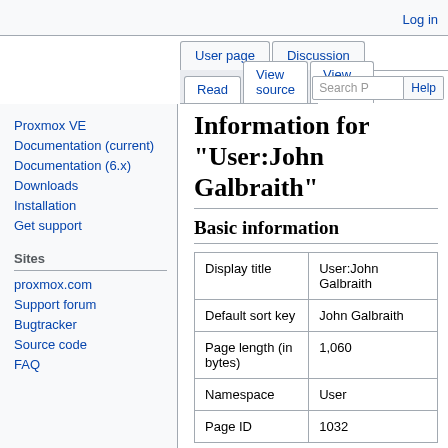Log in
User page | Discussion
Read | View source | View history | Search P | Help
Proxmox VE
Documentation (current)
Documentation (6.x)
Downloads
Installation
Get support
Sites
proxmox.com
Support forum
Bugtracker
Source code
FAQ
Information for "User:John Galbraith"
Basic information
|  |  |
| --- | --- |
| Display title | User:John Galbraith |
| Default sort key | John Galbraith |
| Page length (in bytes) | 1,060 |
| Namespace | User |
| Page ID | 1032 |